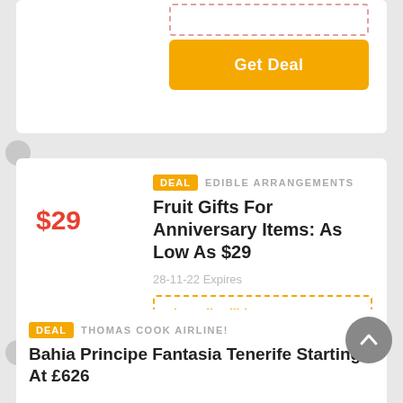[Figure (screenshot): Top partial deal card with dashed input box and yellow Get Deal button]
Get Deal
DEAL  EDIBLE ARRANGEMENTS
Fruit Gifts For Anniversary Items: As Low As $29
$29
28-11-22 Expires
View All Edible Arrangements Offers >
Get Deal
DEAL  THOMAS COOK AIRLINE!
Bahia Principe Fantasia Tenerife Starting At £626